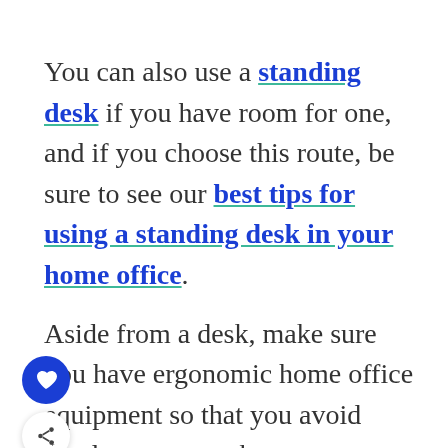You can also use a standing desk if you have room for one, and if you choose this route, be sure to see our best tips for using a standing desk in your home office.
Aside from a desk, make sure you have ergonomic home office equipment so that you avoid hand cramps, neck cramps, or strains in your body, attributed to office chairs or table height that's not good for your body measurements.